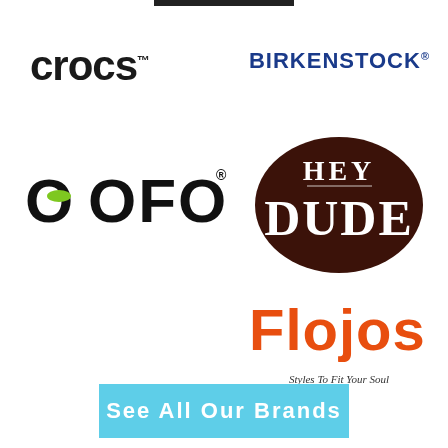[Figure (logo): Crocs brand logo in black bold sans-serif with trademark symbol]
[Figure (logo): Birkenstock brand logo in dark navy blue bold uppercase letters with registered trademark symbol]
[Figure (logo): OOFOS brand logo in black bold uppercase letters with green oval accent and registered trademark symbol]
[Figure (logo): Hey Dude brand logo in dark brown oval badge shape with white text]
[Figure (logo): Flojos brand logo in orange bold text with tagline 'Styles To Fit Your Soul']
[Figure (other): See All Our Brands button in sky blue with white text]